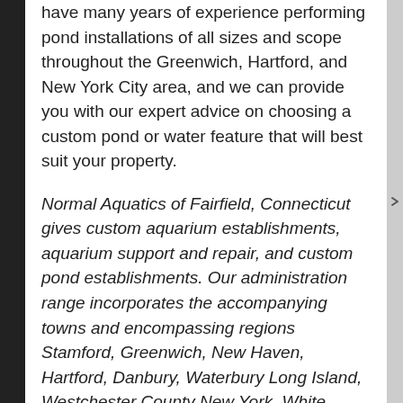have many years of experience performing pond installations of all sizes and scope throughout the Greenwich, Hartford, and New York City area, and we can provide you with our expert advice on choosing a custom pond or water feature that will best suit your property.
Normal Aquatics of Fairfield, Connecticut gives custom aquarium establishments, aquarium support and repair, and custom pond establishments. Our administration range incorporates the accompanying towns and encompassing regions Stamford, Greenwich, New Haven, Hartford, Danbury, Waterbury Long Island, Westchester County New York, White Plains New York, New York City, Northern New Jersey, and all of New England. Get in touch with us today for a FREE Consultation...